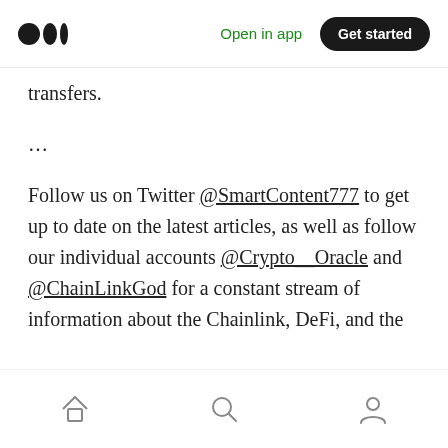Medium app header — Open in app | Get started
transfers.
...
Follow us on Twitter @SmartContent777 to get up to date on the latest articles, as well as follow our individual accounts @Crypto__Oracle and @ChainLinkGod for a constant stream of information about the Chainlink, DeFi, and the blockchain space.
Bottom navigation bar — Home, Search, Profile